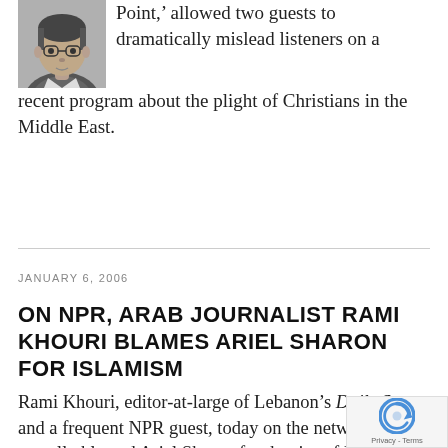[Figure (photo): Black and white portrait photo of a man with glasses]
Point,' allowed two guests to dramatically mislead listeners on a recent program about the plight of Christians in the Middle East.
JANUARY 6, 2006
ON NPR, ARAB JOURNALIST RAMI KHOURI BLAMES ARIEL SHARON FOR ISLAMISM
Rami Khouri, editor-at-large of Lebanon's Daily Star, and a frequent NPR guest, today on the network actually blamed Ariel Sharon for the rise of Islamism in the Middle East. Perhaps Khouri has never heard of the Wahhabis, or the Saudis and their vast oil wealth, or the Taliban, or Sudan under al-Turab... That being the case, it's too bad for NPR listen... that the network has heard of Khouri, and invites...